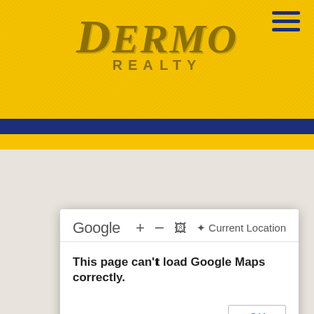[Figure (screenshot): Dermo Realty website header with yellow striped background, dark gold italic logo text reading 'DERMO REALTY', navy blue hamburger menu icon in top right, navy blue stripe and yellow stripe below. A Google Maps area shows map tiles with blue-ringed cluster markers (21, 2) and grey dots. A Google Maps error dialog overlays the map: top row shows Google logo, zoom controls (+, -), image icon, and 'Current Location' button. Body reads 'This page can't load Google Maps correctly.' with a 'Do you own this website?' prompt and an OK button.]